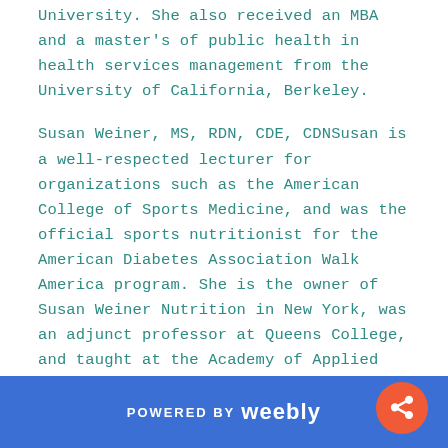University. She also received an MBA and a master's of public health in health services management from the University of California, Berkeley.
Susan Weiner, MS, RDN, CDE, CDNSusan is a well-respected lecturer for organizations such as the American College of Sports Medicine, and was the official sports nutritionist for the American Diabetes Association Walk America program. She is the owner of Susan Weiner Nutrition in New York, was an adjunct professor at Queens College, and taught at the Academy of Applied Personal Training Education at Hofstra University. She is a key educational advisor for Marjorie's Fund, a type 1 diabetes mellitus global initiative dedicated to improving the lives of people with type 1 diabetes mellitus. She also is on the advisory board of DiabetesSisters, a nonprofit
POWERED BY weebly